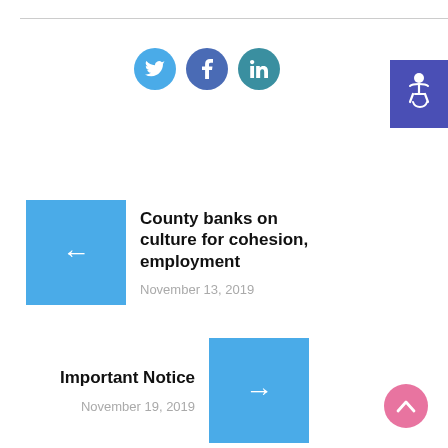[Figure (infographic): Social media icons: Twitter, Facebook, LinkedIn as colored circles]
[Figure (infographic): Accessibility icon button (wheelchair symbol) purple background, top right]
County banks on culture for cohesion, employment
November 13, 2019
Important Notice
November 19, 2019
[Figure (infographic): Scroll to top button, pink circle with upward chevron]